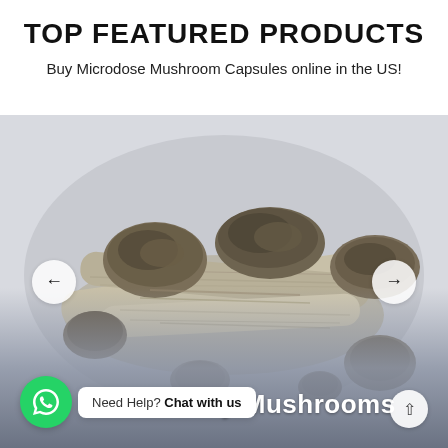TOP FEATURED PRODUCTS
Buy Microdose Mushroom Capsules online in the US!
[Figure (photo): Dried psilocybin mushrooms (Penis Envy variety) arranged in a pile on a white/grey background, with left and right carousel navigation arrows overlaid]
Penis Envy Mushrooms
Need Help? Chat with us